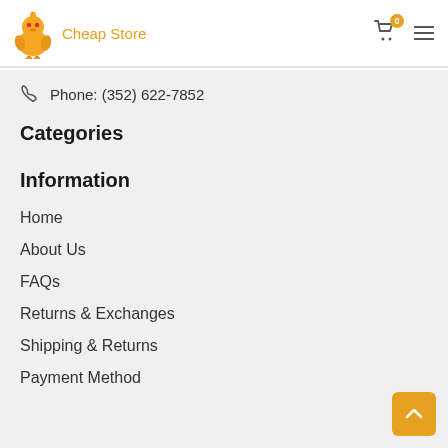Cheap Store
Phone: (352) 622-7852
Categories
Information
Home
About Us
FAQs
Returns & Exchanges
Shipping & Returns
Payment Method